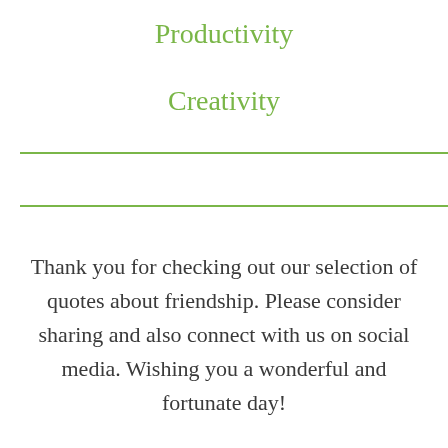Productivity
Creativity
Thank you for checking out our selection of quotes about friendship. Please consider sharing and also connect with us on social media. Wishing you a wonderful and fortunate day!